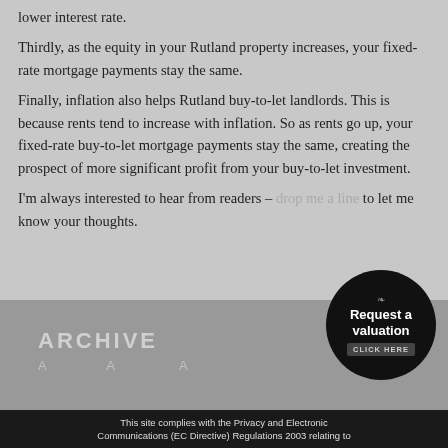lower interest rate.
Thirdly, as the equity in your Rutland property increases, your fixed-rate mortgage payments stay the same.
Finally, inflation also helps Rutland buy-to-let landlords. This is because rents tend to increase with inflation. So as rents go up, your fixed-rate buy-to-let mortgage payments stay the same, creating the prospect of more significant profit from your buy-to-let investment.
I'm always interested to hear from readers – drop me a line to let me know your thoughts.
ARCHIVE
A...
This site complies with the Privacy and Electronic Communications (EC Directive) Regulations 2003 relating to